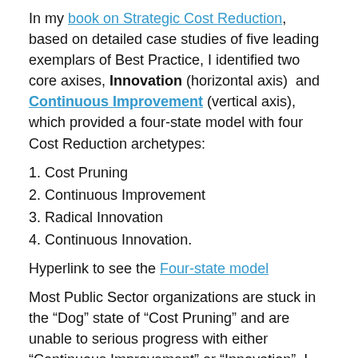In my book on Strategic Cost Reduction, based on detailed case studies of five leading exemplars of Best Practice, I identified two core axises, Innovation (horizontal axis) and Continuous Improvement (vertical axis), which provided a four-state model with four Cost Reduction archetypes:
1. Cost Pruning
2. Continuous Improvement
3. Radical Innovation
4. Continuous Innovation.
Hyperlink to see the Four-state model
Most Public Sector organizations are stuck in the “Dog” state of “Cost Pruning” and are unable to serious progress with either “Continuous Improvement” or “Innovation”. I shall explore “Cost Pruning” in more detail in a future blog